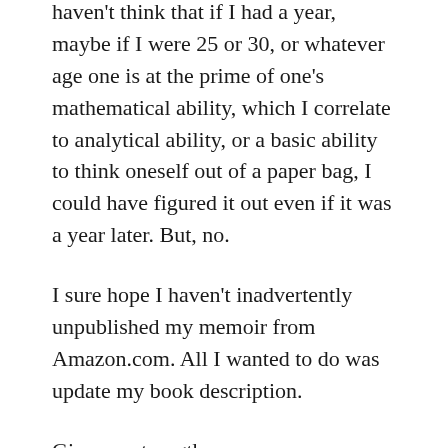haven't think that if I had a year, maybe if I were 25 or 30, or whatever age one is at the prime of one's mathematical ability, which I correlate to analytical ability, or a basic ability to think oneself out of a paper bag, I could have figured it out even if it was a year later. But, no.
I sure hope I haven't inadvertently unpublished my memoir from Amazon.com. All I wanted to do was update my book description.
Give me strength.
Here's the good news:
After publicly announcing I was abandoning all efforts at marketing my self-published book, I